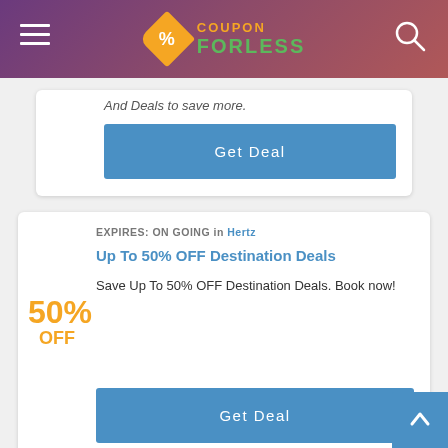COUPON FORLESS
And Deals to save more.
Get Deal
EXPIRES: ON GOING in Hertz
Up To 50% OFF Destination Deals
50% OFF
Save Up To 50% OFF Destination Deals. Book now!
Get Deal
EXPIRES: ON GOING in Dollar Rent A Car
Sign Up For The Latest News & Offers
DEAL
Get The Latest News & Offers With Email Sign Up. Register Now!
Get Deal